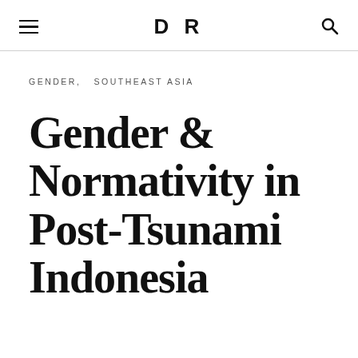DR
GENDER,   SOUTHEAST ASIA
Gender & Normativity in Post-Tsunami Indonesia